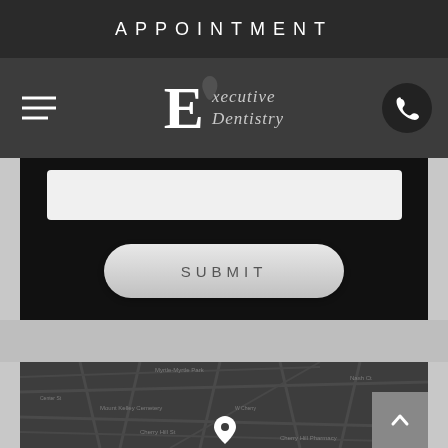APPOINTMENT
[Figure (logo): Executive Dentistry logo with hamburger menu and phone icon on dark nav bar]
[Figure (screenshot): Form area with input field and SUBMIT button on dark background]
[Figure (map): Dark-themed map showing local area with location pin marker and back-to-top arrow button]